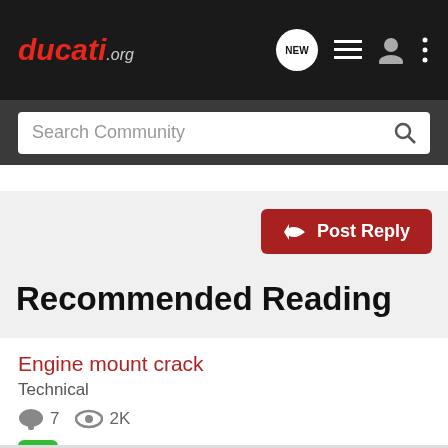ducati.org
Search Community
Recommended Reading
Engine mount crack
Technical
7  2K
sjostedt · updated Jan 1, 2014